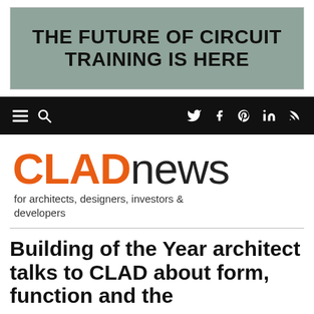[Figure (other): Advertisement banner with grey/sage background and bold text reading 'THE FUTURE OF CIRCUIT TRAINING IS HERE']
Navigation bar with hamburger menu, search icon on left; social icons (Twitter, Facebook, Pinterest, LinkedIn, RSS) on right, black background
CLADnews
for architects, designers, investors & developers
Building of the Year architect talks to CLAD about form, function and the...